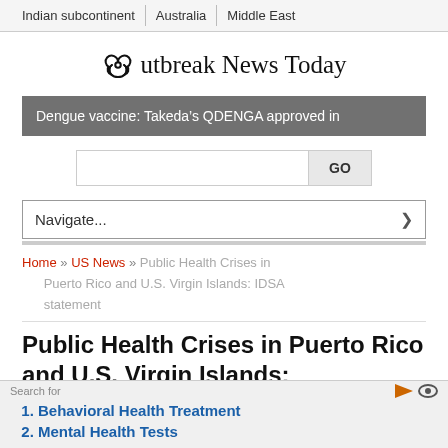Indian subcontinent | Australia | Middle East
Outbreak News Today
Dengue vaccine: Takeda’s QDENGA approved in
Navigate...
Home » US News » Public Health Crises in Puerto Rico and U.S. Virgin Islands: IDSA statement
Public Health Crises in Puerto Rico and U.S. Virgin Islands:
1. Behavioral Health Treatment
2. Mental Health Tests